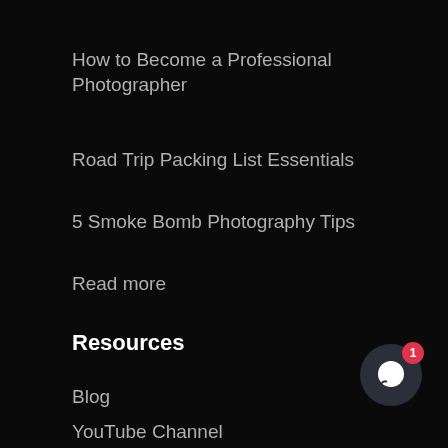How to Become a Professional Photographer
Road Trip Packing List Essentials
5 Smoke Bomb Photography Tips
Read more
Resources
Blog
YouTube Channel
[Figure (other): Chat button with notification badge showing '1']